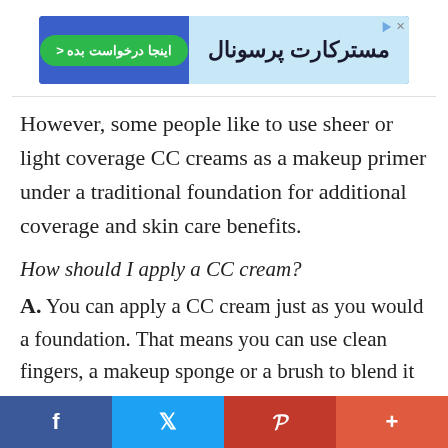[Figure (other): Advertisement banner in Persian for 'مسترکارت پرسونال' (Mastercard Personal) with a green button reading 'اینجا درخواست بده >' on a blue background left section, and text on a light blue right section.]
However, some people like to use sheer or light coverage CC creams as a makeup primer under a traditional foundation for additional coverage and skin care benefits.
How should I apply a CC cream?
A. You can apply a CC cream just as you would a foundation. That means you can use clean fingers, a makeup sponge or a brush to blend it into the skin. You'll usually
[Figure (other): Social media sharing bar at the bottom with four buttons: Facebook (blue), Twitter (light blue), Pinterest (red), and a plus/share button (orange-red).]